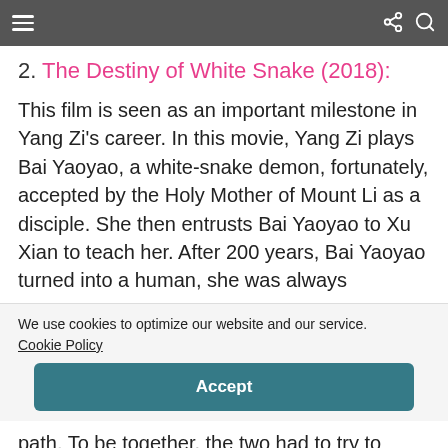≡  [share] [search]
2. The Destiny of White Snake (2018):
This film is seen as an important milestone in Yang Zi's career. In this movie, Yang Zi plays Bai Yaoyao, a white-snake demon, fortunately, accepted by the Holy Mother of Mount Li as a disciple. She then entrusts Bai Yaoyao to Xu Xian to teach her. After 200 years, Bai Yaoyao turned into a human, she was always
We use cookies to optimize our website and our service. Cookie Policy
Accept
path. To be together, the two had to try to overcome